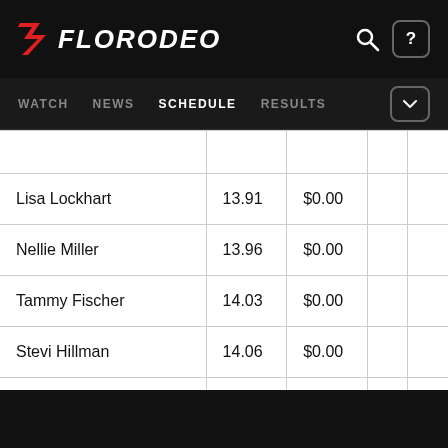FLORODEO — WATCH | NEWS | SCHEDULE | RESULTS
|  |  |  |  |  |
| --- | --- | --- | --- | --- |
| Lisa Lockhart | 13.91 | $0.00 |  |  |
| Nellie Miller | 13.96 | $0.00 |  |  |
| Tammy Fischer | 14.03 | $0.00 |  |  |
| Stevi Hillman | 14.06 | $0.00 |  |  |
| Carman Pozzobon | 14.06 | $0.00 |  |  |